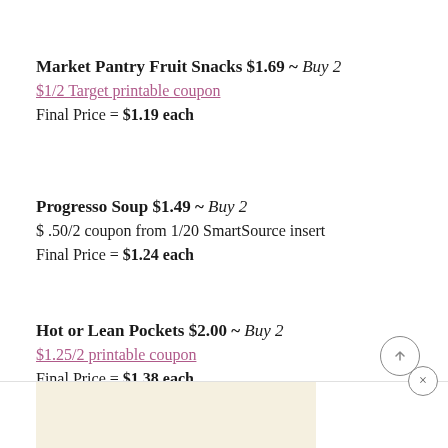Market Pantry Fruit Snacks $1.69 ~ Buy 2
$1/2 Target printable coupon
Final Price = $1.19 each
Progresso Soup $1.49 ~ Buy 2
$.50/2 coupon from 1/20 SmartSource insert
Final Price = $1.24 each
Hot or Lean Pockets $2.00 ~ Buy 2
$1.25/2 printable coupon
Final Price = $1.38 each